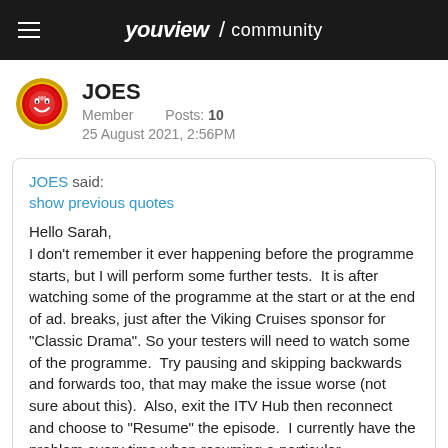youview / community
JOES
Member   Posts: 10
25 August 2021, 2:56PM
JOES said:
show previous quotes
Hello Sarah,
I don't remember it ever happening before the programme starts, but I will perform some further tests.  It is after watching some of the programme at the start or at the end of ad. breaks, just after the Viking Cruises sponsor for "Classic Drama". So your testers will need to watch some of the programme.  Try pausing and skipping backwards and forwards too, that may make the issue worse (not sure about this).  Also, exit the ITV Hub then reconnect and choose to "Resume" the episode.  I currently have the problem every time when resuming a particular